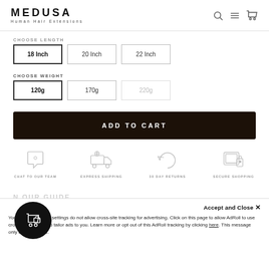MEDUSA Human Hair Extensions
CHOOSE LENGTH
18 Inch (selected)
20 Inch
22 Inch
CHOOSE WEIGHT
120g (selected)
170g
220g (unavailable)
ADD TO CART
[Figure (infographic): Four icons: Chat to our team (speech bubble with heart), Express Shipping (truck with clock), 30 Day Returns (circular arrows), Secure Shopping (tablet with lock)]
Accept and Close ×
Your privacy settings do not allow cross-site tracking for advertising. Click on this page to allow AdRoll to use cross-site tracking to tailor ads to you. Learn more or opt out of this AdRoll tracking by clicking here. This message only appears once.